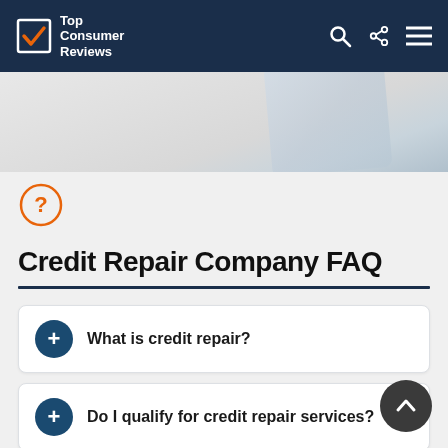Top Consumer Reviews
[Figure (screenshot): Partial image visible at top of page, showing a decorative element with light blue/gray tones]
Credit Repair Company FAQ
What is credit repair?
Do I qualify for credit repair services?
How much does credit repair cost?